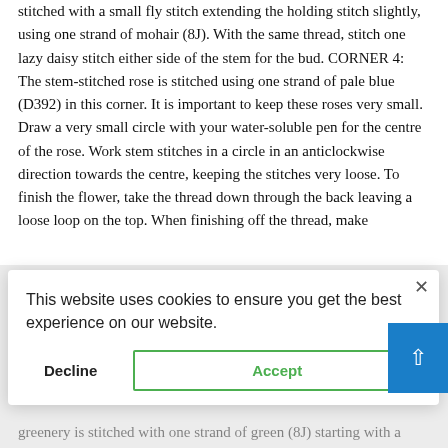stitched with a small fly stitch extending the holding stitch slightly, using one strand of mohair (8J). With the same thread, stitch one lazy daisy stitch either side of the stem for the bud. CORNER 4: The stem-stitched rose is stitched using one strand of pale blue (D392) in this corner. It is important to keep these roses very small. Draw a very small circle with your water-soluble pen for the centre of the rose. Work stem stitches in a circle in an anticlockwise direction towards the centre, keeping the stitches very loose. To finish the flower, take the thread down through the back leaving a loose loop on the top. When finishing off the thread, make
[Figure (screenshot): Cookie consent modal dialog with 'This website uses cookies to ensure you get the best experience on our website.' message, Decline and Accept buttons, and a close (×) button.]
or the each enery is and es to
greenery is stitched with one strand of green (8J) starting with a